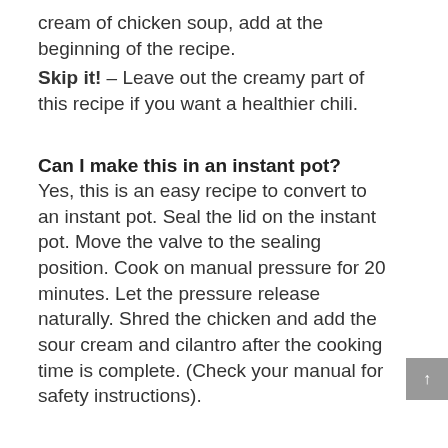cream of chicken soup, add at the beginning of the recipe.
Skip it! – Leave out the creamy part of this recipe if you want a healthier chili.
Can I make this in an instant pot?
Yes, this is an easy recipe to convert to an instant pot. Seal the lid on the instant pot. Move the valve to the sealing position. Cook on manual pressure for 20 minutes. Let the pressure release naturally. Shred the chicken and add the sour cream and cilantro after the cooking time is complete. (Check your manual for safety instructions).
Can I use raw boneless turkey breast?
You can use a turkey breast if desired. In